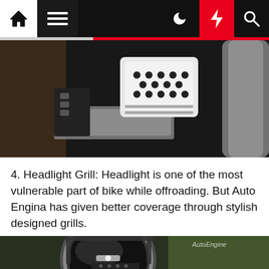Navigation bar with home, menu, dark mode, lightning, search icons
[Figure (photo): Close-up of a motorcycle engine area showing a white headlight guard/grill with hexagonal holes and three horizontal lines, against dark mechanical components]
4. Headlight Grill: Headlight is one of the most vulnerable part of bike while offroading. But Auto Engina has given better coverage through stylish designed grills.
[Figure (photo): Close-up of a round motorcycle headlight with a metal protective grill/guard around it, LED bulb visible inside, green grass in background. Auto Engine watermark in top right corner.]